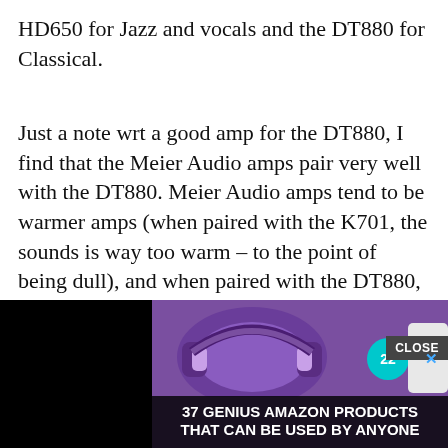HD650 for Jazz and vocals and the DT880 for Classical.
Just a note wrt a good amp for the DT880, I find that the Meier Audio amps pair very well with the DT880. Meier Audio amps tend to be warmer amps (when paired with the K701, the sounds is way too warm – to the point of being dull), and when paired with the DT880, tames the DT880 treble. Also, I find that the DT880 do have very deep, very accurate and surprisingly very impactful bass when amplified properly (I run mine with the older Meier Audio Corda Aria amp). Try the DT880 with a Meier Audio
[Figure (screenshot): Advertisement overlay showing purple headphones with text '37 GENIUS AMAZON PRODUCTS THAT CAN BE USED BY ANYONE', a CLOSE button, and a circular badge with number 22.]